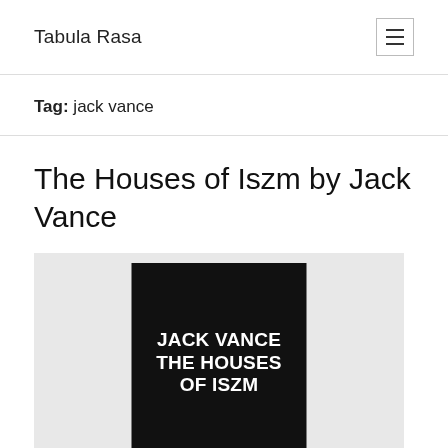Tabula Rasa
Tag: jack vance
The Houses of Iszm by Jack Vance
[Figure (photo): Book cover of 'The Houses of Iszm' by Jack Vance — black cover with bold white uppercase text reading JACK VANCE THE HOUSES OF ISZM]